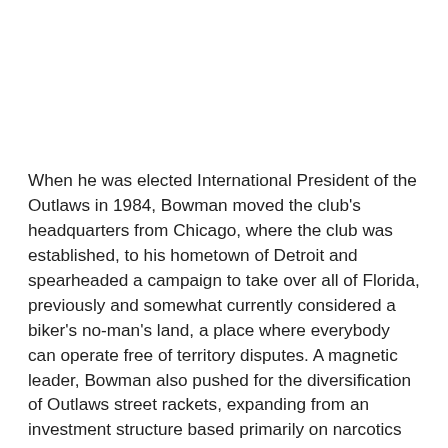When he was elected International President of the Outlaws in 1984, Bowman moved the club's headquarters from Chicago, where the club was established, to his hometown of Detroit and spearheaded a campaign to take over all of Florida, previously and somewhat currently considered a biker's no-man's land, a place where everybody can operate free of territory disputes. A magnetic leader, Bowman also pushed for the diversification of Outlaws street rackets, expanding from an investment structure based primarily on narcotics to a portfolio boasting gambling, loansharking and extortion to augment the drug proceeds.